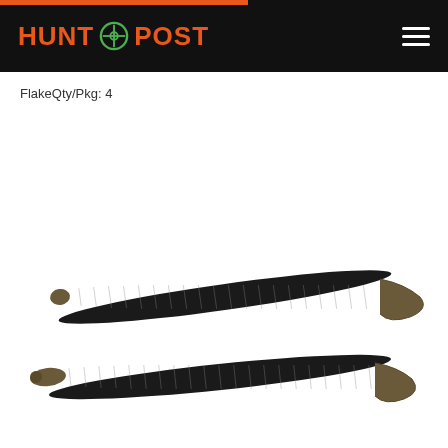HUNT POST
FlakeQty/Pkg: 4
[Figure (photo): Two black fishing worm lures (soft plastic ribbed worms) with olive/brown curled tails, arranged diagonally on a white background.]